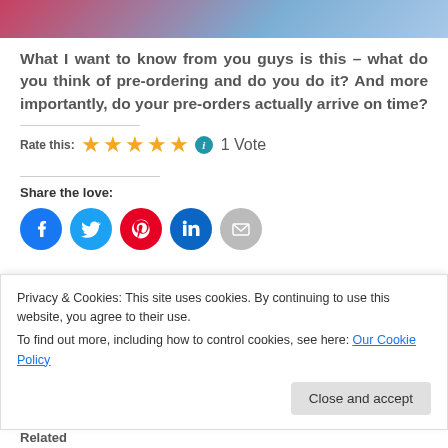[Figure (illustration): Partial illustration showing colored cartoon/anime-style image at top of page]
What I want to know from you guys is this – what do you think of pre-ordering and do you do it? And more importantly, do your pre-orders actually arrive on time?
Rate this: ★★★★★ ⓘ 1 Vote
Share the love:
[Figure (infographic): Social share buttons: Facebook, Twitter, Pinterest, LinkedIn, Email]
Privacy & Cookies: This site uses cookies. By continuing to use this website, you agree to their use.
To find out more, including how to control cookies, see here: Our Cookie Policy
Related